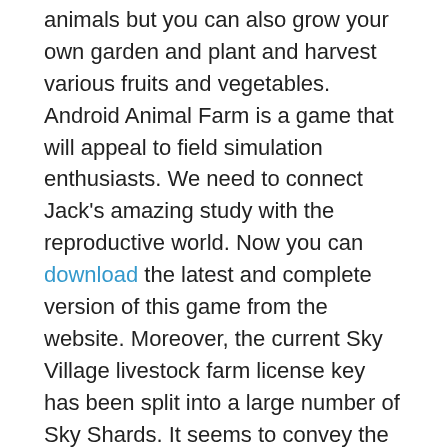animals but you can also grow your own garden and plant and harvest various fruits and vegetables. Android Animal Farm is a game that will appeal to field simulation enthusiasts. We need to connect Jack's amazing study with the reproductive world. Now you can download the latest and complete version of this game from the website. Moreover, the current Sky Village livestock farm license key has been split into a large number of Sky Shards. It seems to convey the desire of these poor new residents.
Key Features:
Furthermore, EXPLORE distant lands to FIND and RESCUE cute animals
BREED AND EVOLVE to collect over 100 Rare PETS
Sow, grow and harvest your favourite fruits and vegetables in an innovative way
Furthermore, TRADE precious materials with